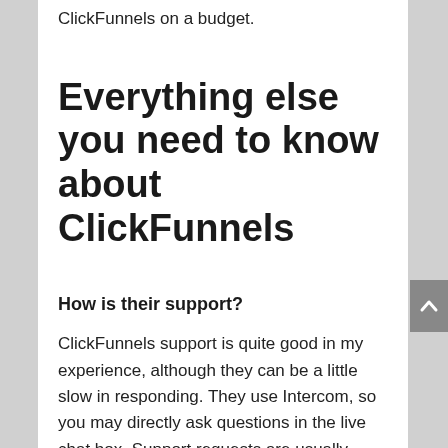ClickFunnels on a budget.
Everything else you need to know about ClickFunnels
How is their support?
ClickFunnels support is quite good in my experience, although they can be a little slow in responding. They use Intercom, so you may directly ask questions in the live chat box. Support requests are usually answered within a few hours and I found the staff to pretty helpful to all my